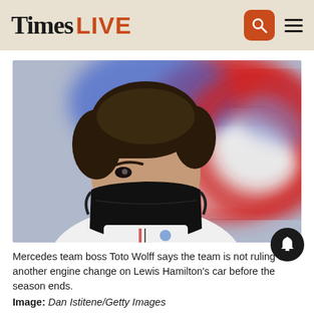Times LIVE
[Figure (photo): Mercedes team boss Toto Wolff wearing a black face mask and white shirt, looking to the side, with a blurred red and white background, likely an F1 paddock setting.]
Mercedes team boss Toto Wolff says the team is not ruling out another engine change on Lewis Hamilton's car before the season ends.
Image: Dan Istitene/Getty Images